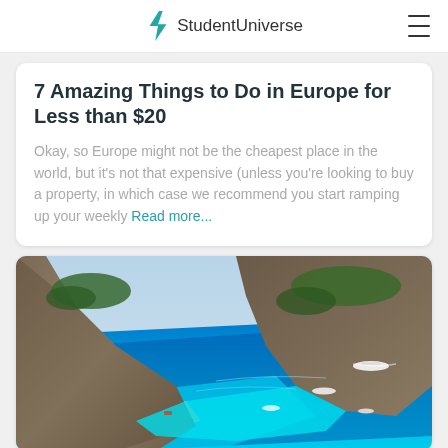StudentUniverse
7 Amazing Things to Do in Europe for Less than $20
Okay, so Europe might not be the cheapest place in the world, but it's not that expensive (unless you're looking to buy a property, in which case we recommend you start ramping up your weekly Read more…
[Figure (photo): Aerial photograph of a dramatic coastal landscape with steep rocky cliffs, a hidden sandy beach cove, and vivid turquoise blue water with several boats visible — likely Navagio Beach, Zakynthos, Greece.]